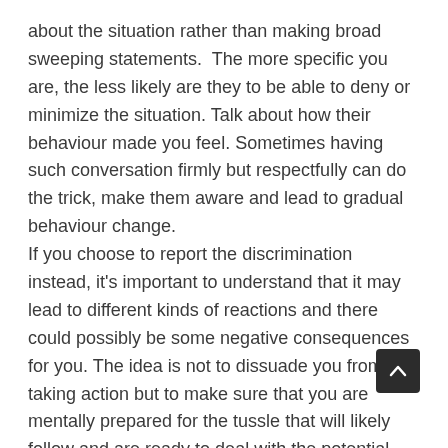about the situation rather than making broad sweeping statements.  The more specific you are, the less likely are they to be able to deny or minimize the situation. Talk about how their behaviour made you feel. Sometimes having such conversation firmly but respectfully can do the trick, make them aware and lead to gradual behaviour change.
If you choose to report the discrimination instead, it's important to understand that it may lead to different kinds of reactions and there could possibly be some negative consequences for you. The idea is not to dissuade you from taking action but to make sure that you are mentally prepared for the tussle that will likely follow and are ready to deal with the potential fallouts.
Also consider what will be the consequences of not reporting the discrimination. How will it impact your self-esteem and your career? How will things change in the company? Sometimes the top management may not realize that there is